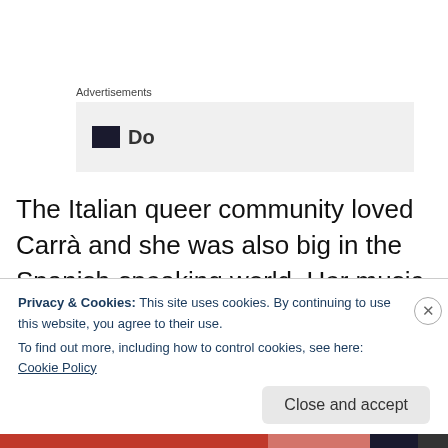Advertisements
[Figure (other): Advertisement banner placeholder with dark square icon and partial text]
The Italian queer community loved Carrà and she was also big in the Spanish-speaking world. Her music was a rare find in Toronto, except in Italian-Canadian homes and gay clubs like The Carriage House. Today, the 70-year old Carrà is a judge on The Voice of Italy and it's her voice on
Privacy & Cookies: This site uses cookies. By continuing to use this website, you agree to their use.
To find out more, including how to control cookies, see here: Cookie Policy
Close and accept